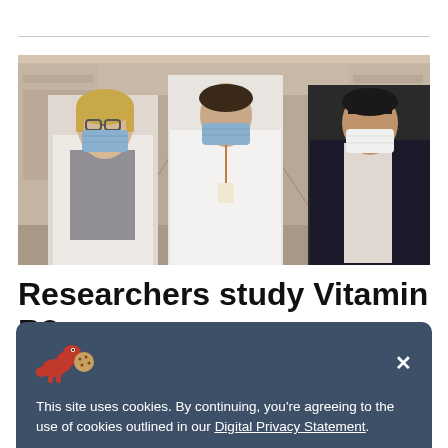[Figure (photo): Three healthcare professionals wearing masks standing in a hospital corridor. Two women in white lab coats on the left and center, one man in a dark suit jacket on the right.]
Researchers study Vitamin B3 as potential treatment for
This site uses cookies. By continuing, you’re agreeing to the use of cookies outlined in our Digital Privacy Statement.
its potential to benefit people diagnosed with glioblastoma.